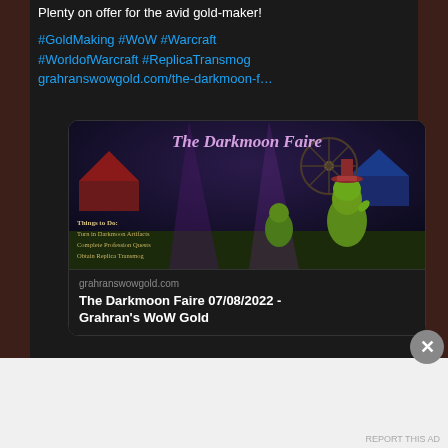Plenty on offer for the avid gold-maker!
#GoldMaking #WoW #Warcraft #WorldofWarcraft #ReplicaTransmog grahranswowgold.com/the-darkmoon-f…
[Figure (screenshot): The Darkmoon Faire game screenshot showing goblins and text listing things to do: Turn in Darkmoon Artifacts, Complete Profession Quests, Obtain Replica Transmog]
grahranswowgold.com
The Darkmoon Faire 07/08/2022 - Grahran's WoW Gold
Advertisements
[Figure (screenshot): Automattic advertisement: Build a better web and a better world.]